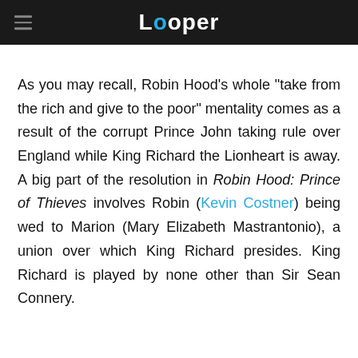Looper
As you may recall, Robin Hood's whole "take from the rich and give to the poor" mentality comes as a result of the corrupt Prince John taking rule over England while King Richard the Lionheart is away. A big part of the resolution in Robin Hood: Prince of Thieves involves Robin (Kevin Costner) being wed to Marion (Mary Elizabeth Mastrantonio), a union over which King Richard presides. King Richard is played by none other than Sir Sean Connery.